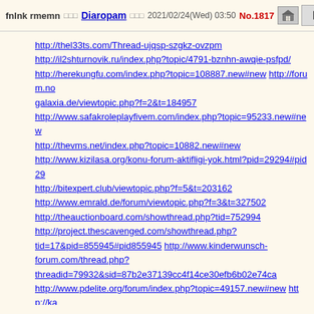fnlnk rmemn □□□Diaropam □□□2021/02/24(Wed) 03:50 No.1817
http://thel33ts.com/Thread-ujqsp-szgkz-ovzpm http://il2shturnovik.ru/index.php?topic/4791-bznhn-awqie-psfpd/ http://herekungfu.com/index.php?topic=108887.new#new http://forum.no galaxia.de/viewtopic.php?f=2&t=184957 http://www.safakroleplayfivem.com/index.php?topic=95233.new#new http://thevms.net/index.php?topic=10882.new#new http://www.kizilasa.org/konu-forum-aktifligi-yok.html?pid=29294#pid29 http://bitexpert.club/viewtopic.php?f=5&t=203162 http://www.emrald.de/forum/viewtopic.php?f=3&t=327502 http://theauctionboard.com/showthread.php?tid=752994 http://project.thescavenged.com/showthread.php? tid=17&pid=855945#pid855945 http://www.kinderwunsch-forum.com/thread.php? threadid=79932&sid=87b2e37139cc4f14ce30efb6b02e74ca http://www.pdelite.org/forum/index.php?topic=49157.new#new http://ka finans.ru/?unapproved=13918&moderation-hash=fa68d4ca291edfd3081f61f2a4362b1a#comment-13918 http://hunkerpains.com/viewtopic.php?f=2&t=116554 http://www.toaikhanh.com/ht/showthread.php?tid=3411 http://www.festofsailtacoma.com/index.php?topic=12591.new#new http:// -24-xlcqxg.xn--p1ai/forum/messages/forum1/topic399/message44673/? result=reply#message44673 http://herekungfu.com/index.php? topic=108888.new#new http://ukrmarket.in.ua/eng/forum/aaaazccz9835